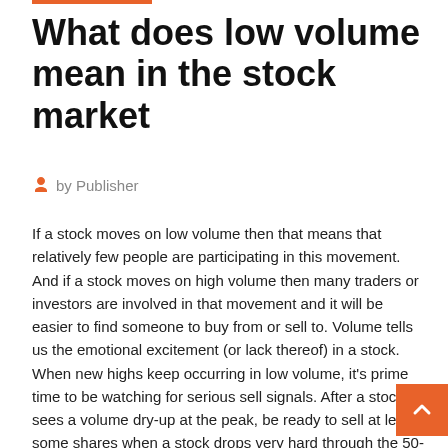What does low volume mean in the stock market
by Publisher
If a stock moves on low volume then that means that relatively few people are participating in this movement. And if a stock moves on high volume then many traders or investors are involved in that movement and it will be easier to find someone to buy from or sell to. Volume tells us the emotional excitement (or lack thereof) in a stock. When new highs keep occurring in low volume, it's prime time to be watching for serious sell signals. After a stock sees a volume dry-up at the peak, be ready to sell at least some shares when a stock drops very hard through the 50-day moving average in gigantic volume. Or the stock may shatter a long-term trend line.
What does this message mean? If you are trading a low float stock, it's important to look for liquidity; you don't want to get stuck holding a position you can't get out of...